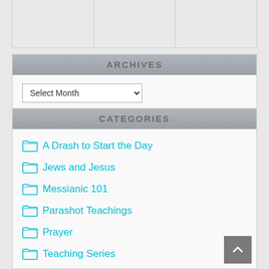ARCHIVES
Select Month (dropdown)
CATEGORIES
A Drash to Start the Day
Jews and Jesus
Messianic 101
Parashot Teachings
Prayer
Teaching Series
Uncategorized
Videos